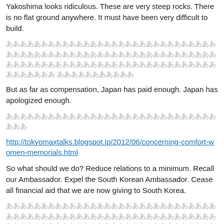Yakoshima looks ridiculous.  These are very steep rocks.  There is no flat ground anywhere.  It must have been very difficult to build.
[Japanese text]
But as far as compensation, Japan has paid enough.  Japan has apologized enough.
[Japanese text]
http://tokyomaxtalks.blogspot.jp/2012/06/concerning-comfort-women-memorials.html
So what should we do?  Reduce relations to a minimum.  Recall our Ambassador.  Expel the South Korean Ambassador.  Cease all financial aid that we are now giving to South Korea.
[Japanese text]